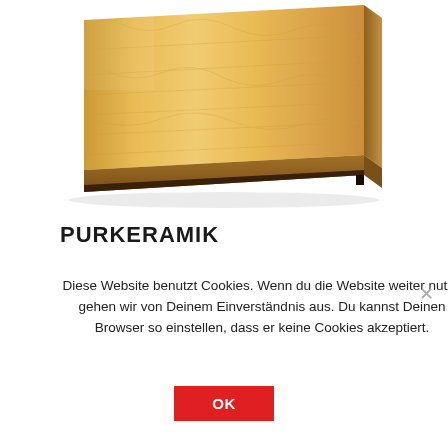[Figure (photo): A wooden plank/board photographed at an angle on a white background, showing natural wood grain texture with light blonde/tan color and dark underside edges.]
PURKERAMIK
Diese Website benutzt Cookies. Wenn du die Website weiter nutzt, gehen wir von Deinem Einverständnis aus. Du kannst Deinen Browser so einstellen, dass er keine Cookies akzeptiert.